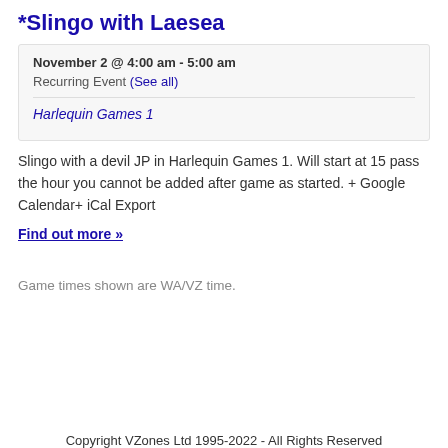*Slingo with Laesea
November 2 @ 4:00 am - 5:00 am
Recurring Event (See all)
Harlequin Games 1
Slingo with a devil JP in Harlequin Games 1. Will start at 15 pass the hour you cannot be added after game as started. + Google Calendar+ iCal Export
Find out more »
Game times shown are WA/VZ time.
Copyright VZones Ltd 1995-2022 - All Rights Reserved